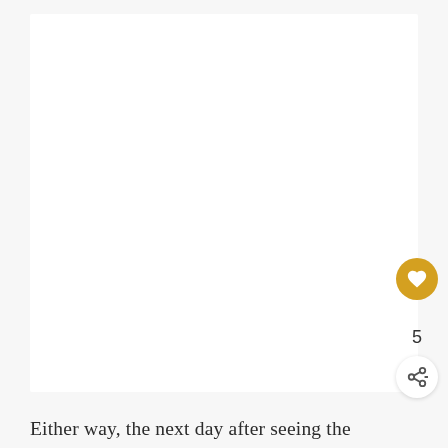[Figure (other): Large white rectangular image placeholder area on a light gray background]
Either way, the next day after seeing the